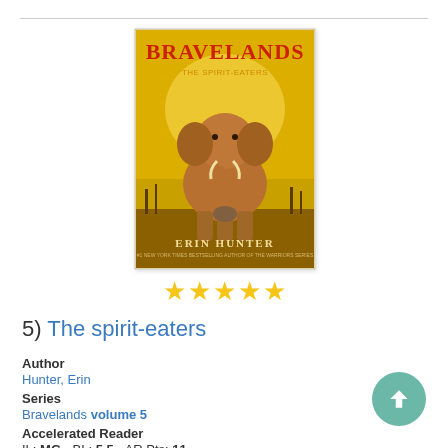[Figure (illustration): Book cover of Bravelands: The Spirit-Eaters by Erin Hunter. Yellow/golden background with a large elephant in the center and smaller animals at its feet. Title 'BRAVELANDS' in red letters at top, subtitle 'The Spirit-Eaters' in smaller text, author name 'ERIN HUNTER' at bottom.]
[Figure (other): Five gold star rating icons displayed horizontally]
5) The spirit-eaters
Author
Hunter, Erin
Series
Bravelands volume 5
Accelerated Reader
IL: MG - BL: 5.5 - AR Pts: 11
Language
English